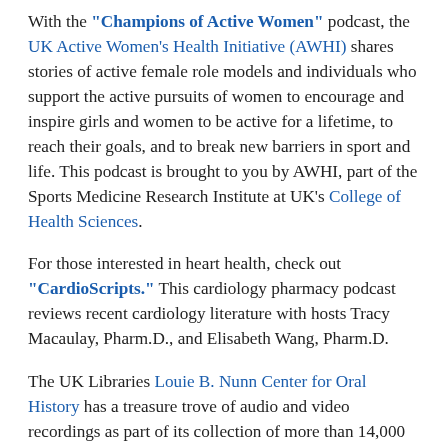With the "Champions of Active Women" podcast, the UK Active Women's Health Initiative (AWHI) shares stories of active female role models and individuals who support the active pursuits of women to encourage and inspire girls and women to be active for a lifetime, to reach their goals, and to break new barriers in sport and life. This podcast is brought to you by AWHI, part of the Sports Medicine Research Institute at UK's College of Health Sciences.
For those interested in heart health, check out "CardioScripts." This cardiology pharmacy podcast reviews recent cardiology literature with hosts Tracy Macaulay, Pharm.D., and Elisabeth Wang, Pharm.D.
The UK Libraries Louie B. Nunn Center for Oral History has a treasure trove of audio and video recordings as part of its collection of more than 14,000 interviews. Through its "Wisdom Project Podcast," the center features stories from a collection that has focused on 20th century Kentucky history; including interviews of its interviews of